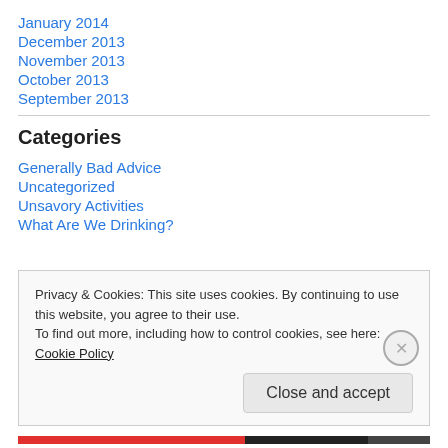January 2014
December 2013
November 2013
October 2013
September 2013
Categories
Generally Bad Advice
Uncategorized
Unsavory Activities
What Are We Drinking?
Privacy & Cookies: This site uses cookies. By continuing to use this website, you agree to their use.
To find out more, including how to control cookies, see here: Cookie Policy
Close and accept